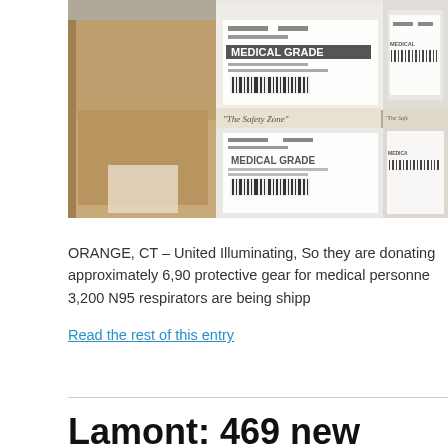[Figure (photo): Stacked boxes of medical-grade N95 respirators with 'MEDICAL GRADE' labels and barcodes, brown cardboard boxes alongside white labeled packaging.]
ORANGE, CT – United Illuminating, So they are donating approximately 6,90 protective gear for medical personne 3,200 N95 respirators are being shipp
Read the rest of this entry
Lamont: 469 new